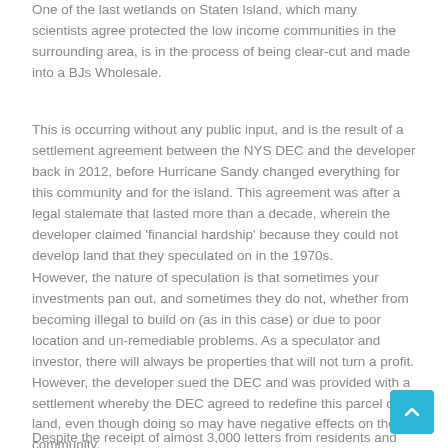One of the last wetlands on Staten Island, which many scientists agree protected the low income communities in the surrounding area, is in the process of being clear-cut and made into a BJs Wholesale.
This is occurring without any public input, and is the result of a settlement agreement between the NYS DEC and the developer back in 2012, before Hurricane Sandy changed everything for this community and for the island. This agreement was after a legal stalemate that lasted more than a decade, wherein the developer claimed 'financial hardship' because they could not develop land that they speculated on in the 1970s.
However, the nature of speculation is that sometimes your investments pan out, and sometimes they do not, whether from becoming illegal to build on (as in this case) or due to poor location and un-remediable problems. As a speculator and investor, there will always be properties that will not turn a profit. However, the developer sued the DEC and was provided with a settlement whereby the DEC agreed to redefine this parcel of land, even though doing so may have negative effects on the community.
Despite the receipt of almost 3,000 letters from residents and